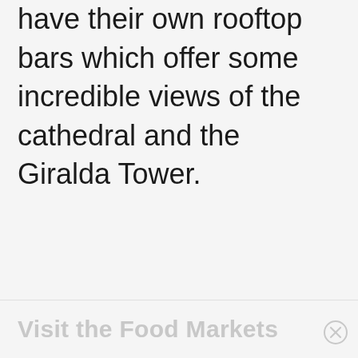have their own rooftop bars which offer some incredible views of the cathedral and the Giralda Tower.
Visit the Food Markets